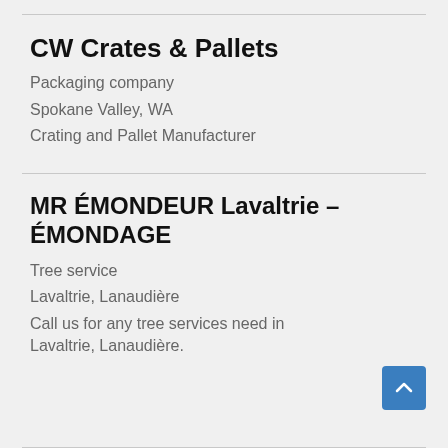CW Crates & Pallets
Packaging company
Spokane Valley, WA
Crating and Pallet Manufacturer
MR ÉMONDEUR Lavaltrie – ÉMONDAGE
Tree service
Lavaltrie, Lanaudière
Call us for any tree services need in Lavaltrie, Lanaudière.